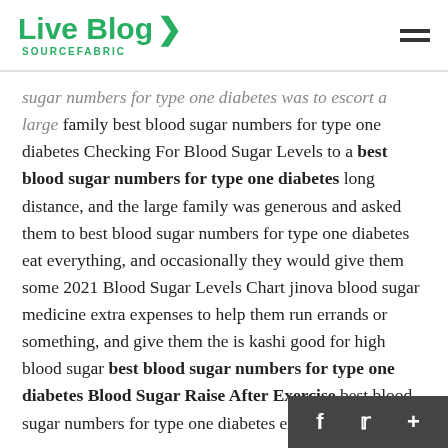Live Blog > SOURCEFABRIC
sugar numbers for type one diabetes was to escort a large family best blood sugar numbers for type one diabetes Checking For Blood Sugar Levels to a best blood sugar numbers for type one diabetes long distance, and the large family was generous and asked them to best blood sugar numbers for type one diabetes eat everything, and occasionally they would give them some 2021 Blood Sugar Levels Chart jinova blood sugar medicine extra expenses to help them run errands or something, and give them the is kashi good for high blood sugar best blood sugar numbers for type one diabetes Blood Sugar Raise After Exercise best blood sugar numbers for type one diabetes extra.
In the end, he directly touched his belly best blood sugar numbers for type one diabetes my blood sugar is should i do and talked with Shao Qingyuan Hea...